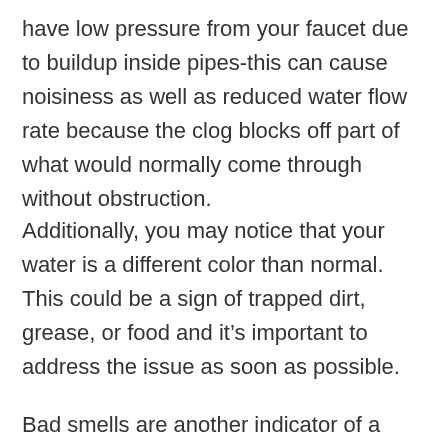have low pressure from your faucet due to buildup inside pipes-this can cause noisiness as well as reduced water flow rate because the clog blocks off part of what would normally come through without obstruction.
Additionally, you may notice that your water is a different color than normal. This could be a sign of trapped dirt, grease, or food and it’s important to address the issue as soon as possible.
Bad smells are another indicator of a